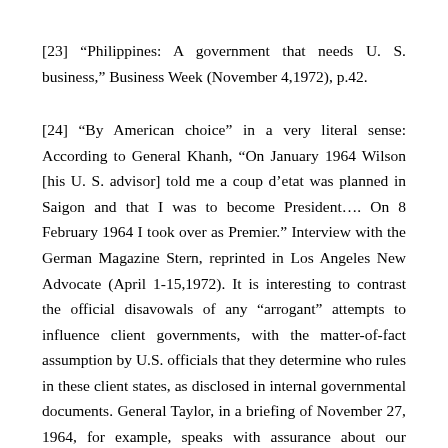[23] “Philippines: A government that needs U. S. business,” Business Week (November 4,1972), p.42.
[24] “By American choice” in a very literal sense: According to General Khanh, “On January 1964 Wilson [his U. S. advisor] told me a coup d’etat was planned in Saigon and that I was to become President…. On 8 February 1964 I took over as Premier.” Interview with the German Magazine Stern, reprinted in Los Angeles New Advocate (April 1-15,1972). It is interesting to contrast the official disavowals of any “arrogant” attempts to influence client governments, with the matter-of-fact assumption by U.S. officials that they determine who rules in these client states, as disclosed in internal governmental documents. General Taylor, in a briefing of November 27, 1964, for example, speaks with assurance about our “establishing some reasonably satisfactory